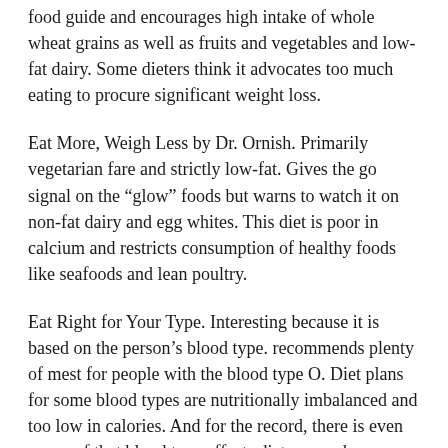food guide and encourages high intake of whole wheat grains as well as fruits and vegetables and low-fat dairy. Some dieters think it advocates too much eating to procure significant weight loss.
Eat More, Weigh Less by Dr. Ornish. Primarily vegetarian fare and strictly low-fat. Gives the go signal on the "glow" foods but warns to watch it on non-fat dairy and egg whites. This diet is poor in calcium and restricts consumption of healthy foods like seafoods and lean poultry.
Eat Right for Your Type. Interesting because it is based on the person's blood type. recommends plenty of mest for people with the blood type O. Diet plans for some blood types are nutritionally imbalanced and too low in calories. And for the record, there is even no proof that blood type affects dietary needs.